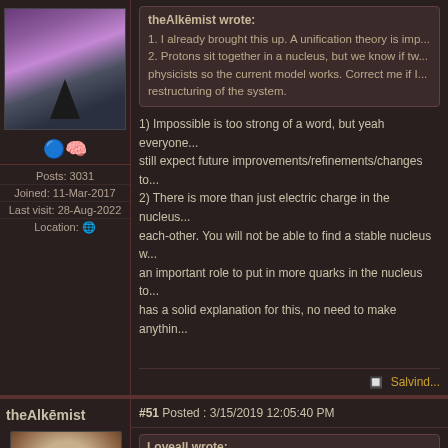[Figure (photo): Forum user avatar: fantasy landscape with purple sky, dark trees, and a silhouette figure on a mound]
Posts: 3031
Joined: 11-Mar-2017
Last visit: 28-Aug-2022
Location: 🌐
theAlkēmist wrote:
1. I already brought this up. A unification theory is imp...
2. Protons sit together in a nucleus, but we know if tw... physicists so the current model works. Correct me if I... restructuring of the system.
1) Impossible is too strong of a word, but yeah everyone... still expect future improvements/refinements/changes to...
2) There is more than just electric charge in the nucleus... each-other. You will not be able to find a stable nucleus w... an important role to put in more quarks in the nucleus to... has a solid explanation for this, no need to make anything...
🔲 Salvind...
theAlkēmist
#51 Posted : 3/15/2019 12:05:40 PM
Loveall wrote:
theAlkēmist wrote: